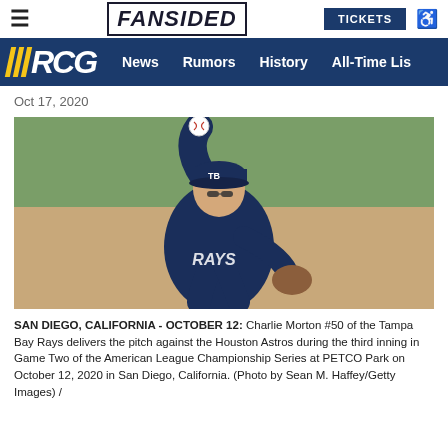FANSIDED | TICKETS
RCG News Rumors History All-Time Lis
Oct 17, 2020
[Figure (photo): Charlie Morton #50 of the Tampa Bay Rays in pitching motion, wearing navy blue Rays uniform and cap, mid-windup with baseball raised, outdoors at PETCO Park.]
SAN DIEGO, CALIFORNIA - OCTOBER 12: Charlie Morton #50 of the Tampa Bay Rays delivers the pitch against the Houston Astros during the third inning in Game Two of the American League Championship Series at PETCO Park on October 12, 2020 in San Diego, California. (Photo by Sean M. Haffey/Getty Images) /